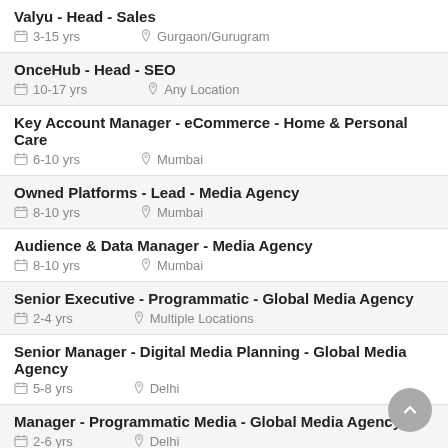Valyu - Head - Sales | 3-15 yrs | Gurgaon/Gurugram
OnceHub - Head - SEO | 10-17 yrs | Any Location
Key Account Manager - eCommerce - Home & Personal Care | 6-10 yrs | Mumbai
Owned Platforms - Lead - Media Agency | 8-10 yrs | Mumbai
Audience & Data Manager - Media Agency | 8-10 yrs | Mumbai
Senior Executive - Programmatic - Global Media Agency | 2-4 yrs | Multiple Locations
Senior Manager - Digital Media Planning - Global Media Agency | 5-8 yrs | Delhi
Manager - Programmatic Media - Global Media Agency | 2-6 yrs | Delhi
Paid Media Manager - Media Activation Team - Media Agency